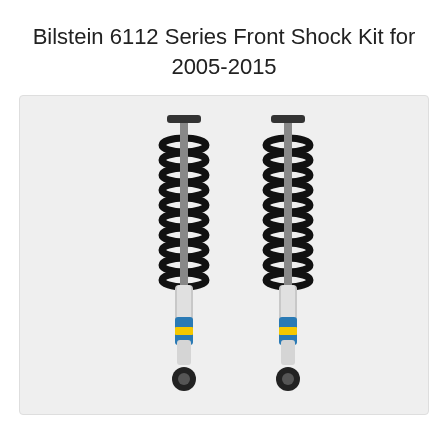Bilstein 6112 Series Front Shock Kit for 2005-2015
[Figure (photo): Two Bilstein 6112 series front coilover shock absorbers shown side by side. Each shock has a black coil spring wound around a silver/chrome body, with a blue and yellow Bilstein branded lower reservoir section and a black mount at the bottom.]